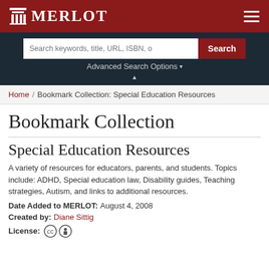MERLOT
Search keywords, title, URL, ISBN, o  Search  Advanced Search Options
Home / Bookmark Collection: Special Education Resources
Bookmark Collection
Special Education Resources
A variety of resources for educators, parents, and students. Topics include: ADHD, Special education law, Disability guides, Teaching strategies, Autism, and links to additional resources.
Date Added to MERLOT:  August 4, 2008
Created by:  Diane Sittig
License: